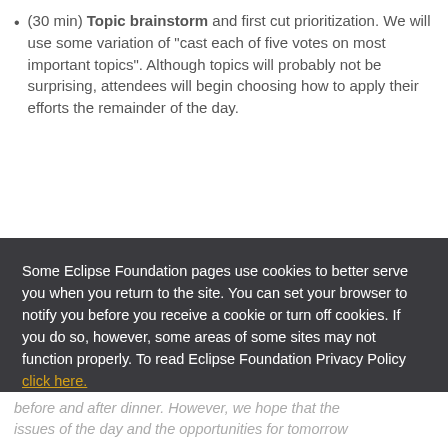(30 min) Topic brainstorm and first cut prioritization. We will use some variation of "cast each of five votes on most important topics". Although topics will probably not be surprising, attendees will begin choosing how to apply their efforts the remainder of the day.
Some Eclipse Foundation pages use cookies to better serve you when you return to the site. You can set your browser to notify you before you receive a cookie or turn off cookies. If you do so, however, some areas of some sites may not function properly. To read Eclipse Foundation Privacy Policy click here.
before and after dinner. However, we hope that the issues of the day and the opportunities for tomorrow